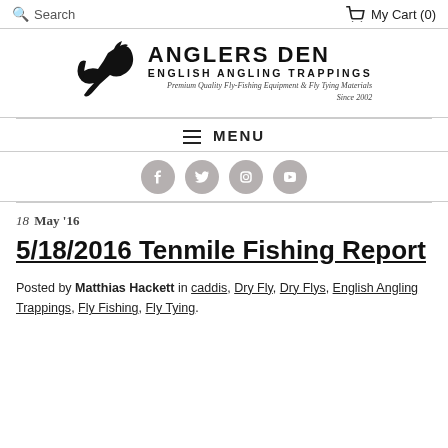Search   My Cart (0)
[Figure (logo): Anglers Den logo with fish illustration, title 'Anglers Den', subtitle 'English Angling Trappings', tagline 'Premium Quality Fly-Fishing Equipment & Fly Tying Materials Since 2002']
≡ MENU
[Figure (infographic): Social media icons: Facebook, Twitter, Instagram, YouTube — circular grey buttons]
18 May '16
5/18/2016 Tenmile Fishing Report
Posted by Matthias Hackett in caddis, Dry Fly, Dry Flys, English Angling Trappings, Fly Fishing, Fly Tying.